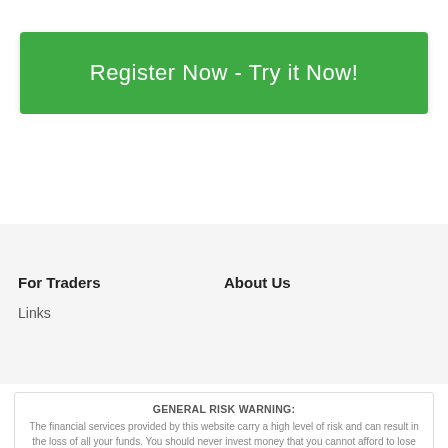Register Now - Try it Now!
For Traders
About Us
Links
GENERAL RISK WARNING:
The financial services provided by this website carry a high level of risk and can result in the loss of all your funds. You should never invest money that you cannot afford to lose